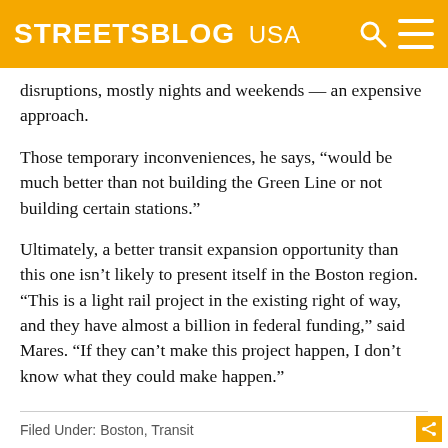STREETSBLOG USA
disruptions, mostly nights and weekends — an expensive approach.
Those temporary inconveniences, he says, “would be much better than not building the Green Line or not building certain stations.”
Ultimately, a better transit expansion opportunity than this one isn’t likely to present itself in the Boston region. “This is a light rail project in the existing right of way, and they have almost a billion in federal funding,” said Mares. “If they can’t make this project happen, I don’t know what they could make happen.”
Filed Under: Boston, Transit